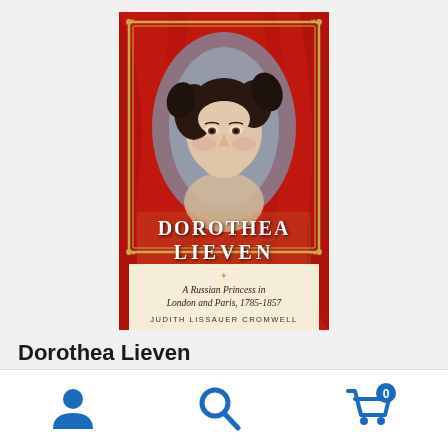[Figure (illustration): Book cover of 'Dorothea Lieven: A Russian Princess in London and Paris, 1785-1857' by Judith Lissauer Cromwell. Red background with a portrait of a young woman with dark curled hair and a gold-bordered frame. Title text 'DOROTHEA LIEVEN' in large serif letters and subtitle 'A Russian Princess in London and Paris, 1785-1857' below.]
Dorothea Lieven
[Figure (infographic): Bottom navigation bar with three icons: a person/user icon on the left, a search/magnifying glass icon in the center, and a shopping cart icon with badge showing '0' on the right.]